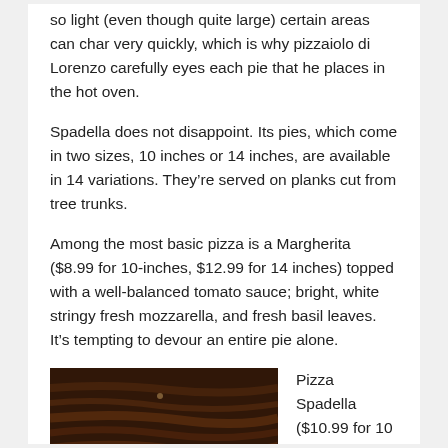so light (even though quite large) certain areas can char very quickly, which is why pizzaiolo di Lorenzo carefully eyes each pie that he places in the hot oven.
Spadella does not disappoint. Its pies, which come in two sizes, 10 inches or 14 inches, are available in 14 variations. They're served on planks cut from tree trunks.
Among the most basic pizza is a Margherita ($8.99 for 10-inches, $12.99 for 14 inches) topped with a well-balanced tomato sauce; bright, white stringy fresh mozzarella, and fresh basil leaves. It's tempting to devour an entire pie alone.
[Figure (photo): Photo of a pizza on a wooden plank cut from a tree trunk, showing wood grain texture. Dark brown tones.]
Pizza Spadella ($10.99 for 10 inches, $14.99 for...